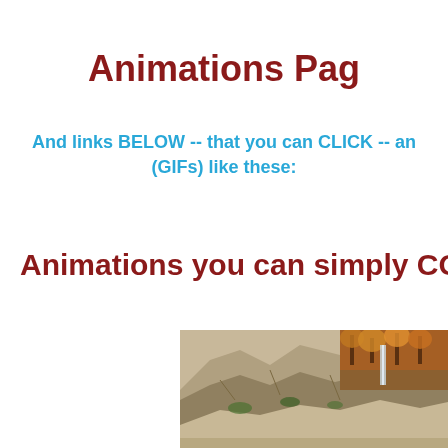Animations Pag
And links BELOW -- that you can CLICK -- an (GIFs) like these:
Animations you can simply CO
[Figure (photo): Photo of stone cliff formation with autumn forest waterfall scene behind it, partially cropped at right edge and bottom.]